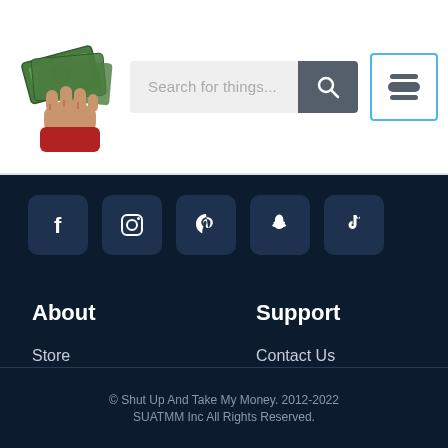[Figure (logo): Hand holding money bills - Shut Up And Take My Money logo]
Search for things...
[Figure (illustration): Burger menu icon button with blue border]
[Figure (illustration): Social media icons row: Facebook, Instagram, Pinterest, Snapchat, TikTok]
About
Store
Affiliates
Fulfillment
Investors
Support
Contact Us
Advertise
Giveaways
© Shut Up And Take My Money. 2012-2022 SUATMM Inc All Rights Reserved.